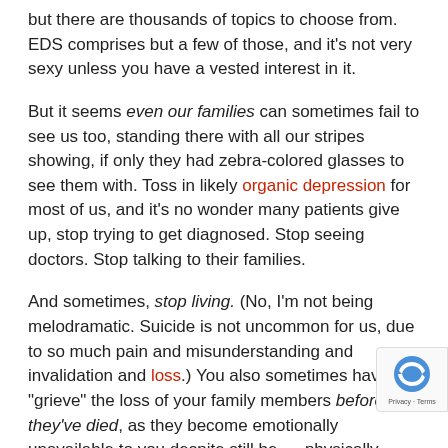but there are thousands of topics to choose from. EDS comprises but a few of those, and it's not very sexy unless you have a vested interest in it.
But it seems even our families can sometimes fail to see us too, standing there with all our stripes showing, if only they had zebra-colored glasses to see them with. Toss in likely organic depression for most of us, and it's no wonder many patients give up, stop trying to get diagnosed. Stop seeing doctors. Stop talking to their families.
And sometimes, stop living. (No, I'm not being melodramatic. Suicide is not uncommon for us, due to so much pain and misunderstanding and invalidation and loss.) You also sometimes have to "grieve" the loss of your family members before they've died, as they become emotionally unavailable to you despite still being physically present. Sad but true. (Been there, done it.)
To my fellow zebras (and zebroids) – stay strong. You